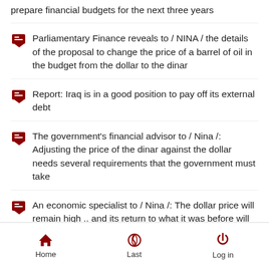prepare financial budgets for the next three years
Parliamentary Finance reveals to / NINA / the details of the proposal to change the price of a barrel of oil in the budget from the dollar to the dinar
Report: Iraq is in a good position to pay off its external debt
The government's financial advisor to / Nina /: Adjusting the price of the dinar against the dollar needs several requirements that the government must take
An economic specialist to / Nina /: The dollar price will remain high .. and its return to what it was before will be within two years
Home  Last  Log in